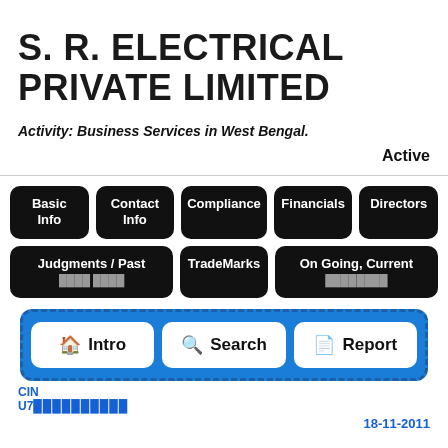S. R. ELECTRICAL PRIVATE LIMITED
Activity: Business Services in West Bengal.
Active
[Figure (screenshot): Navigation buttons: Basic Info, Contact Info, Compliance, Financials, Directors, Judgments / Past Cases, TradeMarks, On Going, Current Litigation]
[Figure (screenshot): Bottom app bar with three buttons: Intro (home icon), Search (magnifier icon), Report (document icon), displayed on blue dashed background]
CIN U75...
18-11-2011